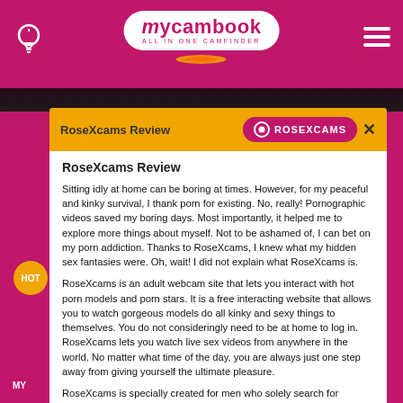mycambook ALL IN ONE CAMFINDER
RoseXcams Review
Sitting idly at home can be boring at times. However, for my peaceful and kinky survival, I thank porn for existing. No, really! Pornographic videos saved my boring days. Most importantly, it helped me to explore more things about myself. Not to be ashamed of, I can bet on my porn addiction. Thanks to RoseXcams, I knew what my hidden sex fantasies were. Oh, wait! I did not explain what RoseXcams is.
RoseXcams is an adult webcam site that lets you interact with hot porn models and porn stars. It is a free interacting website that allows you to watch gorgeous models do all kinky and sexy things to themselves. You do not consideringly need to be at home to log in. RoseXcams lets you watch live sex videos from anywhere in the world. No matter what time of the day, you are always just one step away from giving yourself the ultimate pleasure.
RoseXcams is specially created for men who solely search for websites that offer gorgeous models from all around the